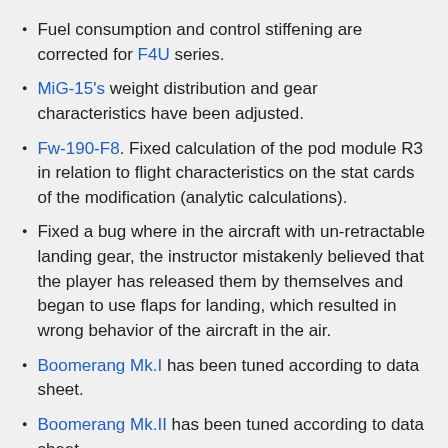Fuel consumption and control stiffening are corrected for F4U series.
MiG-15's weight distribution and gear characteristics have been adjusted.
Fw-190-F8. Fixed calculation of the pod module R3 in relation to flight characteristics on the stat cards of the modification (analytic calculations).
Fixed a bug where in the aircraft with un-retractable landing gear, the instructor mistakenly believed that the player has released them by themselves and began to use flaps for landing, which resulted in wrong behavior of the aircraft in the air.
Boomerang Mk.I has been tuned according to data sheet.
Boomerang Mk.II has been tuned according to data sheet.